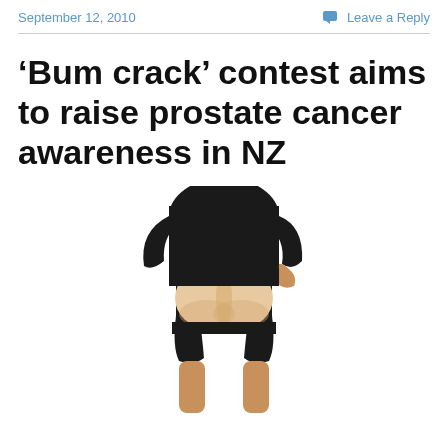September 12, 2010    Leave a Reply
‘Bum crack’ contest aims to raise prostate cancer awareness in NZ
[Figure (photo): Person standing with back turned, wearing black t-shirt and black shorts pulled down to reveal buttocks, legs visible below]